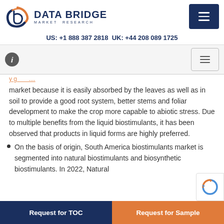DATA BRIDGE MARKET RESEARCH | US: +1 888 387 2818 UK: +44 208 089 1725
market because it is easily absorbed by the leaves as well as in soil to provide a good root system, better stems and foliar development to make the crop more capable to abiotic stress. Due to multiple benefits from the liquid biostimulants, it has been observed that products in liquid forms are highly preferred.
On the basis of origin, South America biostimulants market is segmented into natural biostimulants and biosynthetic biostimulants. In 2022, Natural